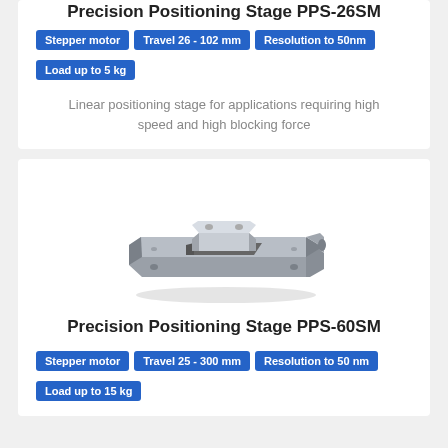Precision Positioning Stage PPS-26SM
Stepper motor
Travel 26 - 102 mm
Resolution to 50nm
Load up to 5 kg
Linear positioning stage for applications requiring high speed and high blocking force
[Figure (photo): Photo of Precision Positioning Stage PPS-60SM linear stage hardware, metallic silver/grey rectangular linear positioning stage device]
Precision Positioning Stage PPS-60SM
Stepper motor
Travel 25 - 300 mm
Resolution to 50 nm
Load up to 15 kg